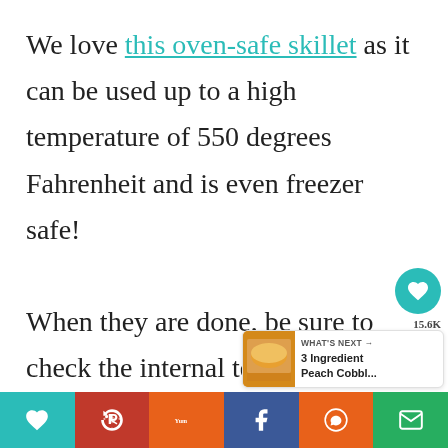We love this oven-safe skillet as it can be used up to a high temperature of 550 degrees Fahrenheit and is even freezer safe! When they are done, be sure to check the internal temperature of the pork chops with a meat thermometer in the thickest part of the chop. Remove the
[Figure (screenshot): What's Next widget showing a thumbnail of a baked dish and text '3 Ingredient Peach Cobbl...']
[Figure (infographic): Social share bar with heart, Pinterest, Yummly, Facebook, Reddit, and email buttons]